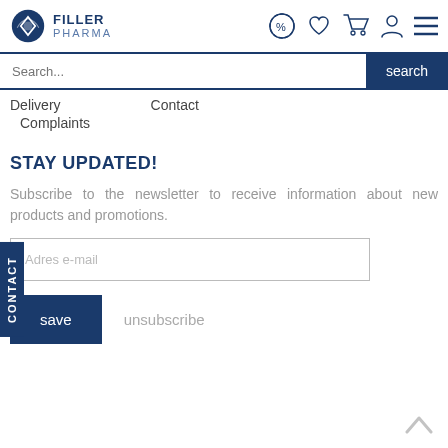[Figure (logo): Filler Pharma logo with dark blue diamond/lens shape and text FILLER PHARMA]
[Figure (infographic): Header navigation icons: percent/discount badge, heart/wishlist, shopping cart, user account, hamburger menu]
Search...
Delivery    Contact
Complaints
STAY UPDATED!
Subscribe to the newsletter to receive information about new products and promotions.
Adres e-mail
save    unsubscribe
CONTACT